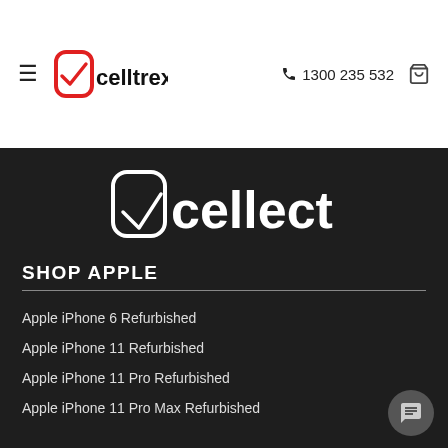celltrex. | 1300 235 532
[Figure (logo): Cellect logo - white phone icon with rounded square outline next to the word 'cellect' in white text on dark background]
SHOP APPLE
Apple iPhone 6 Refurbished
Apple iPhone 11 Refurbished
Apple iPhone 11 Pro Refurbished
Apple iPhone 11 Pro Max Refurbished